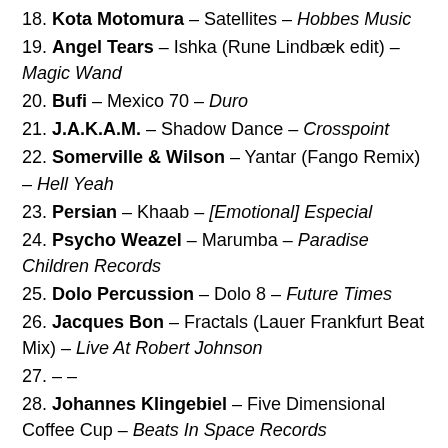18. Kota Motomura – Satellites – Hobbes Music
19. Angel Tears – Ishka (Rune Lindbæk edit) – Magic Wand
20. Bufi – Mexico 70 – Duro
21. J.A.K.A.M. – Shadow Dance – Crosspoint
22. Somerville & Wilson – Yantar (Fango Remix) – Hell Yeah
23. Persian – Khaab – [Emotional] Especial
24. Psycho Weazel – Marumba – Paradise Children Records
25. Dolo Percussion – Dolo 8 – Future Times
26. Jacques Bon – Fractals (Lauer Frankfurt Beat Mix) – Live At Robert Johnson
27. – –
28. Johannes Klingebiel – Five Dimensional Coffee Cup – Beats In Space Records
29. SFV Acid – The Village – Congee Disc